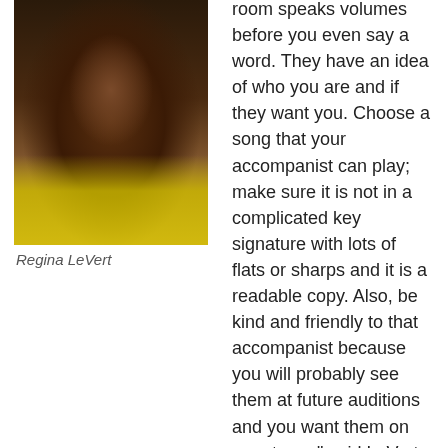[Figure (photo): Headshot photo of Regina LeVert, a woman with curly dark hair wearing a yellow top, smiling at the camera.]
Regina LeVert
room speaks volumes before you even say a word. They have an idea of who you are and if they want you. Choose a song that your accompanist can play; make sure it is not in a complicated key signature with lots of flats or sharps and it is a readable copy. Also, be kind and friendly to that accompanist because you will probably see them at future auditions and you want them on your team," said LeVert.
Additionally, Cloer said the hardest part about being a